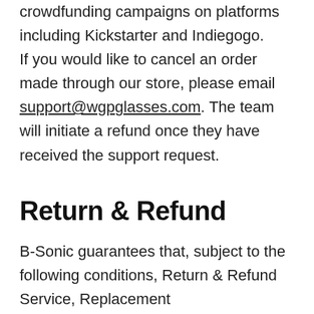crowdfunding campaigns on platforms including Kickstarter and Indiegogo. If you would like to cancel an order made through our store, please email support@wgpglasses.com. The team will initiate a refund once they have received the support request.
Return & Refund
B-Sonic guarantees that, subject to the following conditions, Return & Refund Service, Replacement